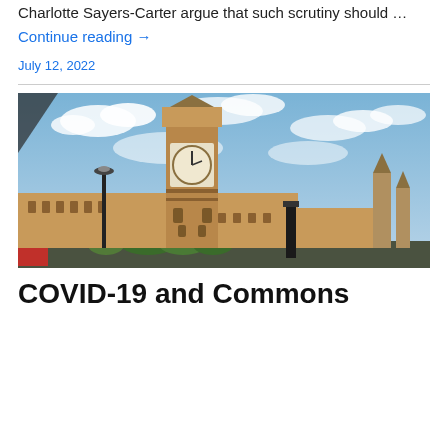Charlotte Sayers-Carter argue that such scrutiny should …
Continue reading →
July 12, 2022
[Figure (photo): Photo of Big Ben (Elizabeth Tower) and the Palace of Westminster under a partly cloudy blue sky, with a street lamp in the foreground and the spires of Westminster in the background.]
COVID-19 and Commons